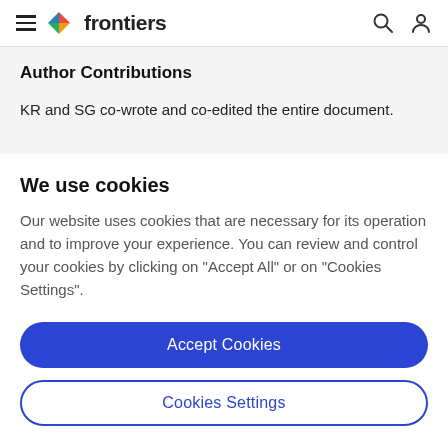frontiers
Author Contributions
KR and SG co-wrote and co-edited the entire document.
We use cookies
Our website uses cookies that are necessary for its operation and to improve your experience. You can review and control your cookies by clicking on "Accept All" or on "Cookies Settings".
Accept Cookies
Cookies Settings